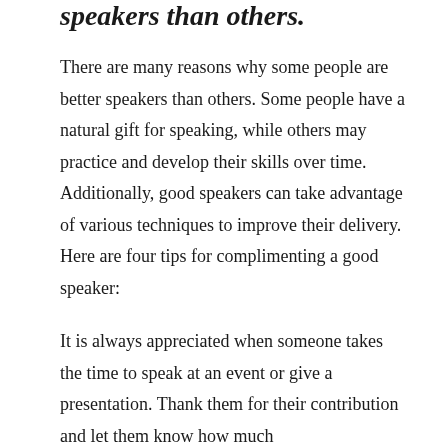speakers than others.
There are many reasons why some people are better speakers than others. Some people have a natural gift for speaking, while others may practice and develop their skills over time. Additionally, good speakers can take advantage of various techniques to improve their delivery. Here are four tips for complimenting a good speaker:
It is always appreciated when someone takes the time to speak at an event or give a presentation. Thank them for their contribution and let them know how much